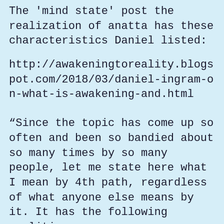The 'mind state' post the realization of anatta has these characteristics Daniel listed:
http://awakeningtoreality.blogspot.com/2018/03/daniel-ingram-on-what-is-awakening-and.html
“Since the topic has come up so often and been so bandied about so many times by so many people, let me state here what I mean by 4th path, regardless of what anyone else means by it. It has the following qualities:
1) Utter centerlessness: no watcher, no sense of a watcher, no subtle watcher, no possibility of a watcher. This is immediately